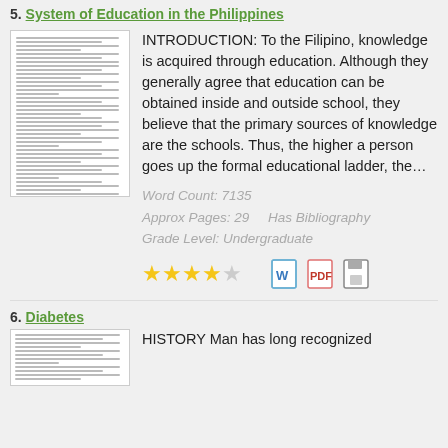5. System of Education in the Philippines
[Figure (illustration): Thumbnail preview of a document page with small text lines]
INTRODUCTION: To the Filipino, knowledge is acquired through education. Although they generally agree that education can be obtained inside and outside school, they believe that the primary sources of knowledge are the schools. Thus, the higher a person goes up the formal educational ladder, the…
Word Count: 7135
Approx Pages: 29     Has Bibliography
Grade Level: Undergraduate
[Figure (other): 4 out of 5 stars rating, plus Word, PDF, and save icons]
6. Diabetes
[Figure (illustration): Thumbnail preview of a document page with small text lines]
HISTORY Man has long recognized